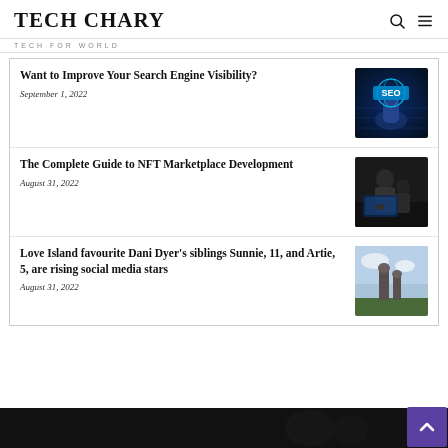TECH CHARY
TECH FOR WORLD
Want to Improve Your Search Engine Visibility?
September 1, 2022
[Figure (photo): SEO themed image with glowing hand holding a globe and SEO text overlay on dark blue digital background]
The Complete Guide to NFT Marketplace Development
August 31, 2022
[Figure (photo): Two people looking at a laptop or device in a dark setting]
Love Island favourite Dani Dyer's siblings Sunnie, 11, and Artie, 5, are rising social media stars
August 31, 2022
[Figure (photo): Stone statues against a partly cloudy sky, outdoor setting with green grass]